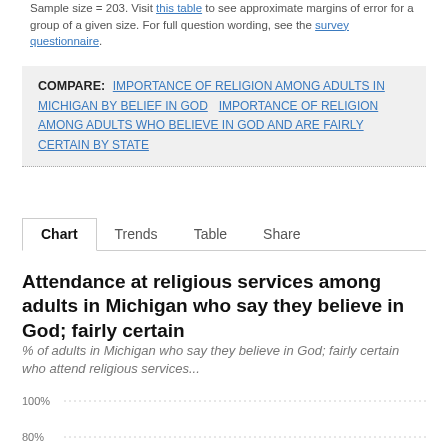Sample size = 203. Visit this table to see approximate margins of error for a group of a given size. For full question wording, see the survey questionnaire.
COMPARE: IMPORTANCE OF RELIGION AMONG ADULTS IN MICHIGAN BY BELIEF IN GOD  IMPORTANCE OF RELIGION AMONG ADULTS WHO BELIEVE IN GOD AND ARE FAIRLY CERTAIN BY STATE
Chart  Trends  Table  Share
Attendance at religious services among adults in Michigan who say they believe in God; fairly certain
% of adults in Michigan who say they believe in God; fairly certain who attend religious services...
[Figure (bar-chart): Partial bar chart showing gridlines at 100% and 80%, chart is cut off at bottom of page]